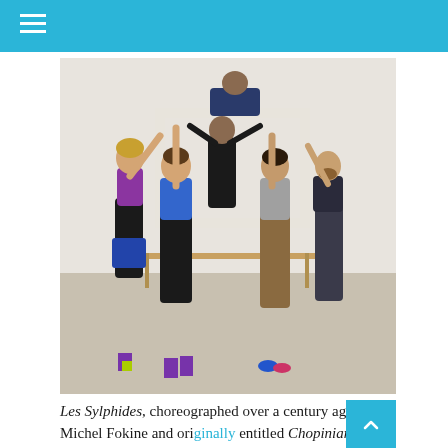[Figure (photo): Several dancers in rehearsal clothes lifting a large white rectangular frame prop overhead in a dance studio with ballet barre visible in the background.]
Les Sylphides, choreographed over a century ago by Michel Fokine and originally entitled Chopiniana, is generally counted as